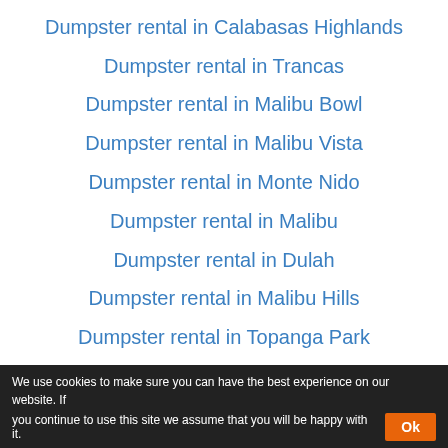Dumpster rental in Calabasas Highlands
Dumpster rental in Trancas
Dumpster rental in Malibu Bowl
Dumpster rental in Malibu Vista
Dumpster rental in Monte Nido
Dumpster rental in Malibu
Dumpster rental in Dulah
Dumpster rental in Malibu Hills
Dumpster rental in Topanga Park
We use cookies to make sure you can have the best experience on our website. If you continue to use this site we assume that you will be happy with it. Ok